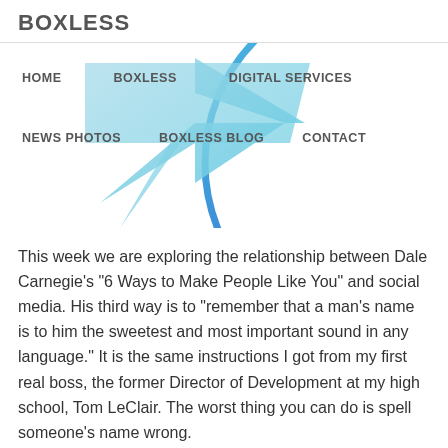BOXLESS
[Figure (illustration): Navigation menu with circular speech bubble graphic in blue/teal gradient, containing nav links: HOME, BOXLESS, DIGITAL SERVICES, NEWS PHOTOS, BOXLESS BLOG, CONTACT]
This week we are exploring the relationship between Dale Carnegie’s “6 Ways to Make People Like You” and social media. His third way is to “remember that a man’s name is to him the sweetest and most important sound in any language.” It is the same instructions I got from my first real boss, the former Director of Development at my high school, Tom LeClair. The worst thing you can do is spell someone’s name wrong.
I talk about this frequently, but too often people look at